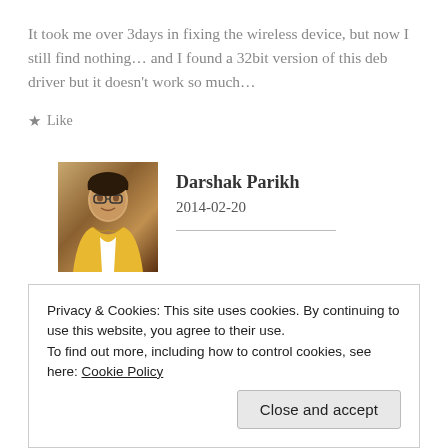It took me over 3days in fixing the wireless device, but now I still find nothing… and I found a 32bit version of this deb driver but it doesn't work so much…
★ Like
[Figure (photo): Profile photo of Darshak Parikh, a man in a yellow jacket]
Darshak Parikh
2014-02-20
Sorry to hear that, but even I don't know the insides
Privacy & Cookies: This site uses cookies. By continuing to use this website, you agree to their use.
To find out more, including how to control cookies, see here: Cookie Policy
Close and accept